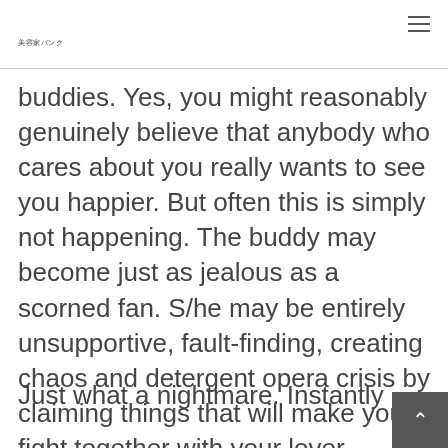美容家パンク
buddies. Yes, you might reasonably genuinely believe that anybody who cares about you really wants to see you happier. But often this is simply not happening. The buddy may become just as jealous as a scorned fan. S/he may be entirely unsupportive, fault-finding, creating chaos and detergent opera crisis by claiming things that will make you fight together with your lover.
Just what a nightmare. Instantly